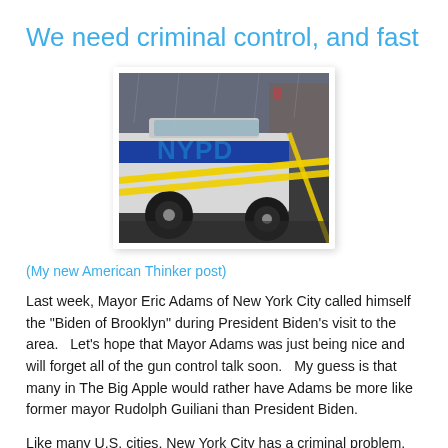We need criminal control, and fast
[Figure (photo): NYPD police car with yellow crime scene tape across it, rainy city street in background]
(My new American Thinker post)
Last week, Mayor Eric Adams of New York City called himself the "Biden of Brooklyn" during President Biden's visit to the area.   Let's hope that Mayor Adams was just being nice and will forget all of the gun control talk soon.   My guess is that many in The Big Apple would rather have Adams be more like former mayor Rudolph Guiliani than President Biden.
Like many U.S. cities, New York City has a criminal problem,